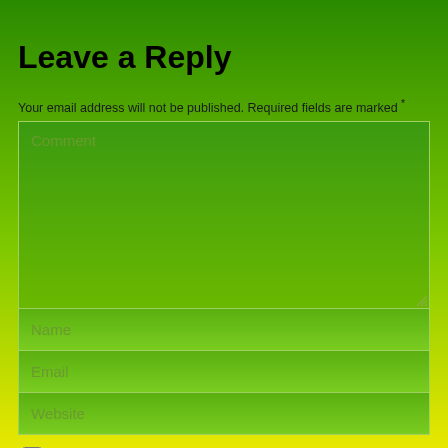Leave a Reply
Your email address will not be published. Required fields are marked *
[Figure (screenshot): Comment textarea input field with placeholder text 'Comment', green gradient background, resizable]
[Figure (screenshot): Name input field with placeholder text 'Name', green gradient background]
[Figure (screenshot): Email input field with placeholder text 'Email', green gradient background]
[Figure (screenshot): Website input field with placeholder text 'Website', green gradient background]
Save my name, email, and site URL in my browser for next time I post a comment.
Post Comment
This site uses Akismet to reduce spam. Learn how your comment data